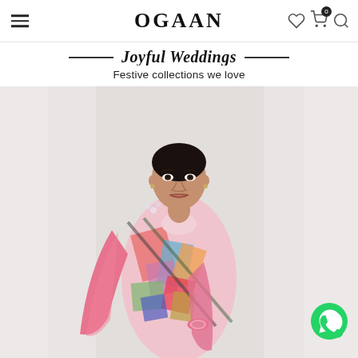OGAAN
Joyful Weddings
Festive collections we love
[Figure (photo): Fashion model wearing a colorful abstract-print Indian outfit with pink dupatta, posing against a white background]
[Figure (logo): WhatsApp contact button (green circle with phone icon) in bottom-right corner]